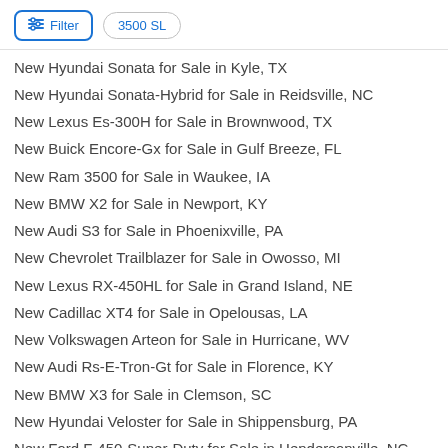Filter | 3500 SL
New Hyundai Sonata for Sale in Kyle, TX
New Hyundai Sonata-Hybrid for Sale in Reidsville, NC
New Lexus Es-300H for Sale in Brownwood, TX
New Buick Encore-Gx for Sale in Gulf Breeze, FL
New Ram 3500 for Sale in Waukee, IA
New BMW X2 for Sale in Newport, KY
New Audi S3 for Sale in Phoenixville, PA
New Chevrolet Trailblazer for Sale in Owosso, MI
New Lexus RX-450HL for Sale in Grand Island, NE
New Cadillac XT4 for Sale in Opelousas, LA
New Volkswagen Arteon for Sale in Hurricane, WV
New Audi Rs-E-Tron-Gt for Sale in Florence, KY
New BMW X3 for Sale in Clemson, SC
New Hyundai Veloster for Sale in Shippensburg, PA
New Ford F-450-Super-Duty for Sale in Hendersonville, NC
Used Jeep Wrangler-4Xe in Los Banos, CA